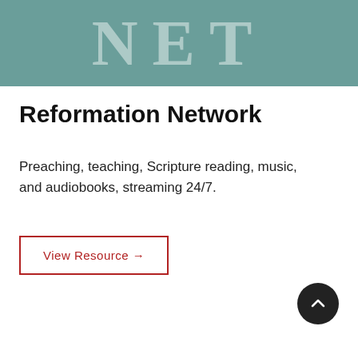[Figure (logo): Teal/muted green banner with large serif letters 'NET' in a semi-transparent white overlay]
Reformation Network
Preaching, teaching, Scripture reading, music, and audiobooks, streaming 24/7.
View Resource →